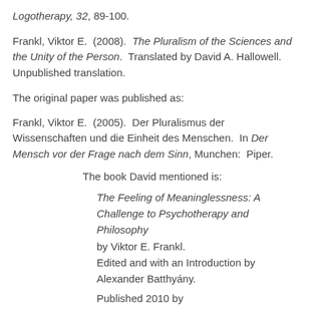Logotherapy, 32, 89-100.
Frankl, Viktor E.  (2008).  The Pluralism of the Sciences and the Unity of the Person.  Translated by David A. Hallowell.  Unpublished translation.
The original paper was published as:
Frankl, Viktor E.  (2005).  Der Pluralismus der Wissenschaften und die Einheit des Menschen.  In Der Mensch vor der Frage nach dem Sinn, Munchen:  Piper.
The book David mentioned is:
The Feeling of Meaninglessness: A Challenge to Psychotherapy and Philosophy
by Viktor E. Frankl.
Edited and with an Introduction by Alexander Batthyány.
Published 2010 by